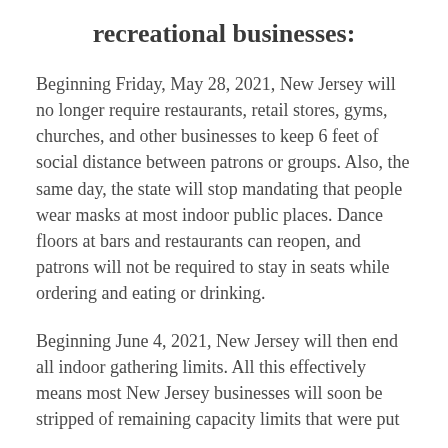recreational businesses:
Beginning Friday, May 28, 2021, New Jersey will no longer require restaurants, retail stores, gyms, churches, and other businesses to keep 6 feet of social distance between patrons or groups. Also, the same day, the state will stop mandating that people wear masks at most indoor public places. Dance floors at bars and restaurants can reopen, and patrons will not be required to stay in seats while ordering and eating or drinking.
Beginning June 4, 2021, New Jersey will then end all indoor gathering limits. All this effectively means most New Jersey businesses will soon be stripped of remaining capacity limits that were put